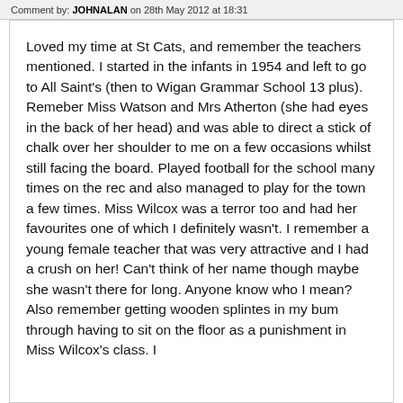Comment by: JOHNALAN on 28th May 2012 at 18:31
Loved my time at St Cats, and remember the teachers mentioned. I started in the infants in 1954 and left to go to All Saint's (then to Wigan Grammar School 13 plus). Remeber Miss Watson and Mrs Atherton (she had eyes in the back of her head) and was able to direct a stick of chalk over her shoulder to me on a few occasions whilst still facing the board. Played football for the school many times on the rec and also managed to play for the town a few times. Miss Wilcox was a terror too and had her favourites one of which I definitely wasn't. I remember a young female teacher that was very attractive and I had a crush on her! Can't think of her name though maybe she wasn't there for long. Anyone know who I mean? Also remember getting wooden splintes in my bum through having to sit on the floor as a punishment in Miss Wilcox's class. I